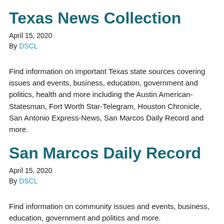Texas News Collection
April 15, 2020
By DSCL
Find information on important Texas state sources covering issues and events, business, education, government and politics, health and more including the Austin American-Statesman, Fort Worth Star-Telegram, Houston Chronicle, San Antonio Express-News, San Marcos Daily Record and more.
San Marcos Daily Record
April 15, 2020
By DSCL
Find information on community issues and events, business, education, government and politics and more.
News Bank Access World...